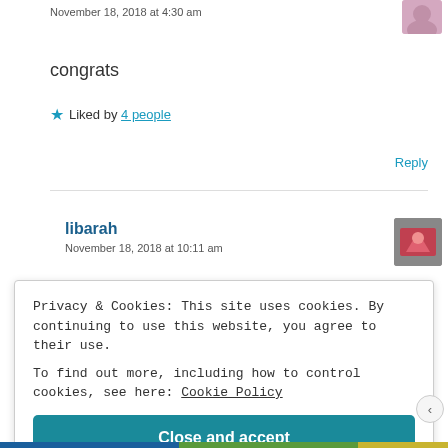November 18, 2018 at 4:30 am
congrats
★ Liked by 4 people
Reply
libarah
November 18, 2018 at 10:11 am
Privacy & Cookies: This site uses cookies. By continuing to use this website, you agree to their use.
To find out more, including how to control cookies, see here: Cookie Policy
Close and accept